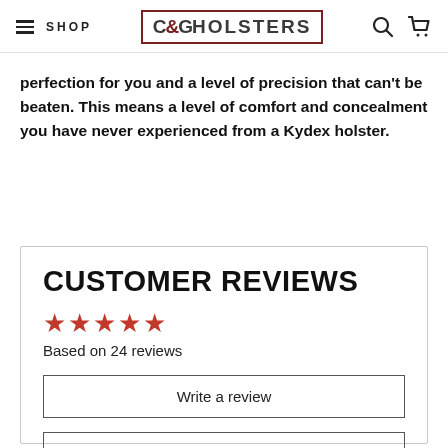SHOP | C&G HOLSTERS
perfection for you and a level of precision that can't be beaten. This means a level of comfort and concealment you have never experienced from a Kydex holster.
CUSTOMER REVIEWS
★★★★★ Based on 24 reviews
Write a review
Ask a question